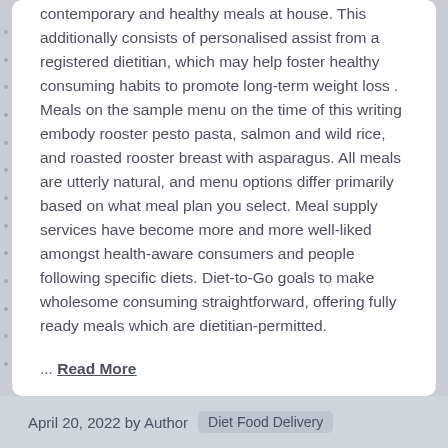contemporary and healthy meals at house. This additionally consists of personalised assist from a registered dietitian, which may help foster healthy consuming habits to promote long-term weight loss . Meals on the sample menu on the time of this writing embody rooster pesto pasta, salmon and wild rice, and roasted rooster breast with asparagus. All meals are utterly natural, and menu options differ primarily based on what meal plan you select. Meal supply services have become more and more well-liked amongst health-aware consumers and people following specific diets. Diet-to-Go goals to make wholesome consuming straightforward, offering fully ready meals which are dietitian-permitted.
... Read More
April 20, 2022 by Author   Diet Food Delivery